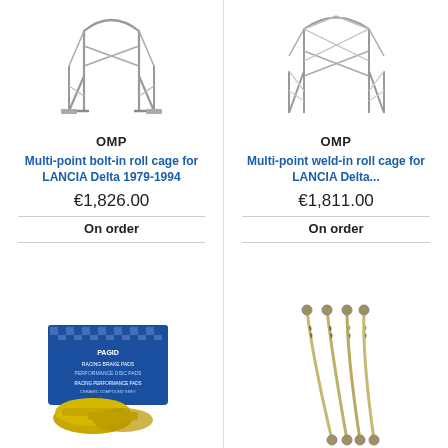[Figure (photo): Roll cage structure - multi-point bolt-in roll cage for Lancia Delta, metallic/silver color]
OMP
Multi-point bolt-in roll cage for LANCIA Delta 1979-1994
€1,826.00
On order
[Figure (photo): Roll cage structure - multi-point weld-in roll cage for Lancia Delta, metallic/silver color, more complex structure]
OMP
Multi-point weld-in roll cage for LANCIA Delta...
€1,811.00
On order
[Figure (photo): Blue racing brake pads box (Pagid brand) with yellow brake pads visible in front]
[Figure (photo): Stainless steel braided brake lines, four lines with end fittings]